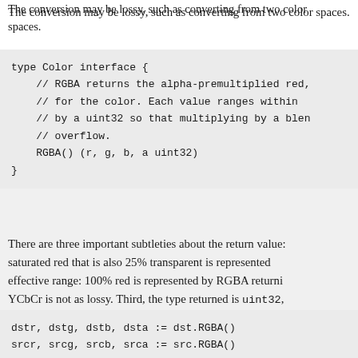The conversion may be lossy, such as converting from two color spaces.
There are three important subtleties about the return value: saturated red that is also 25% transparent is represented effective range: 100% red is represented by RGBA returni YCbCr is not as lossy. Third, the type returned is uint32, multiplying two values together won't overflow. Such multi mask from a third color, in the style of Porter and Duff's cla